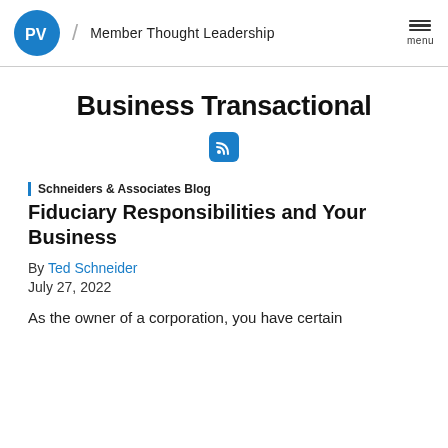ProVisors / Member Thought Leadership
Business Transactional
[Figure (other): RSS feed icon in a blue rounded square]
Schneiders & Associates Blog
Fiduciary Responsibilities and Your Business
By Ted Schneider
July 27, 2022
As the owner of a corporation, you have certain